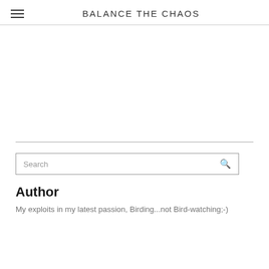BALANCE THE CHAOS
Author
My exploits in my latest passion, Birding...not Bird-watching;-)